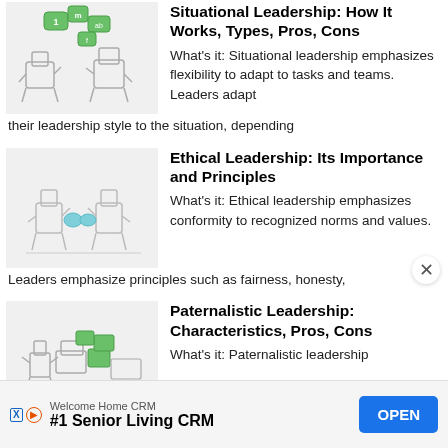[Figure (illustration): Illustrated characters with speech bubbles and numbers, representing situational leadership communication]
Situational Leadership: How It Works, Types, Pros, Cons
What's it: Situational leadership emphasizes flexibility to adapt to tasks and teams. Leaders adapt their leadership style to the situation, depending
[Figure (illustration): Illustrated characters shaking hands or interacting, representing ethical leadership]
Ethical Leadership: Its Importance and Principles
What's it: Ethical leadership emphasizes conformity to recognized norms and values. Leaders emphasize principles such as fairness, honesty,
[Figure (illustration): Illustrated character with boxes and items, representing paternalistic leadership]
Paternalistic Leadership: Characteristics, Pros, Cons
What's it: Paternalistic leadership
Welcome Home CRM  #1 Senior Living CRM  OPEN